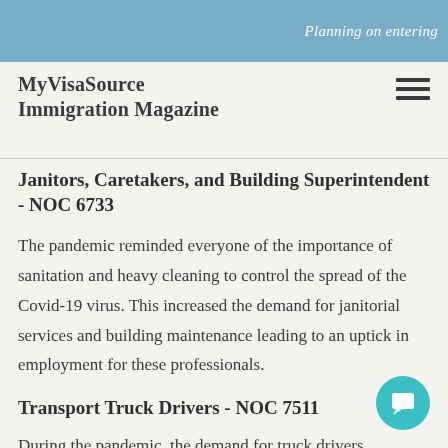Planning on entering
MyVisaSource Immigration Magazine
Janitors, Caretakers, and Building Superintendent - NOC 6733
The pandemic reminded everyone of the importance of sanitation and heavy cleaning to control the spread of the Covid-19 virus. This increased the demand for janitorial services and building maintenance leading to an uptick in employment for these professionals.
Transport Truck Drivers - NOC 7511
During the pandemic, the demand for truck drivers